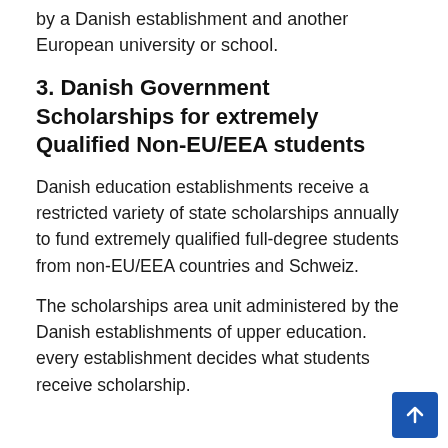by a Danish establishment and another European university or school.
3. Danish Government Scholarships for extremely Qualified Non-EU/EEA students
Danish education establishments receive a restricted variety of state scholarships annually to fund extremely qualified full-degree students from non-EU/EEA countries and Schweiz.
The scholarships area unit administered by the Danish establishments of upper education. every establishment decides what students receive scholarship.